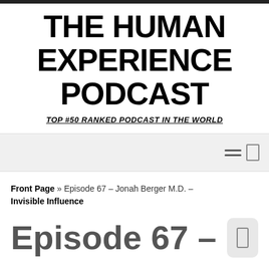THE HUMAN EXPERIENCE PODCAST
TOP #50 RANKED PODCAST IN THE WORLD
Front Page » Episode 67 – Jonah Berger M.D. – Invisible Influence
Episode 67 –